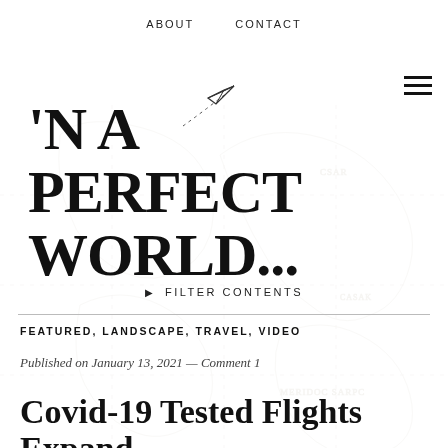ABOUT   CONTACT
[Figure (illustration): Paper airplane icon with dashed trajectory line]
'N A PERFECT WORLD...
▶ FILTER CONTENTS
FEATURED, LANDSCAPE, TRAVEL, VIDEO
Published on January 13, 2021 — Comment 1
Covid-19 Tested Flights Expand